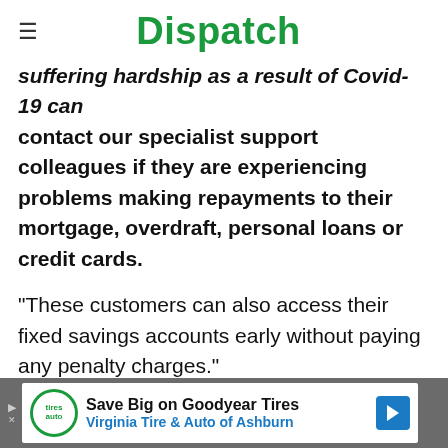Dispatch
suffering hardship as a result of Covid-19 can contact our specialist support colleagues if they are experiencing problems making repayments to their mortgage, overdraft, personal loans or credit cards.
"These customers can also access their fixed savings accounts early without paying any penalty charges."
Advertisement
[Figure (other): Advertisement banner: Save Big on Goodyear Tires - Virginia Tire & Auto of Ashburn]